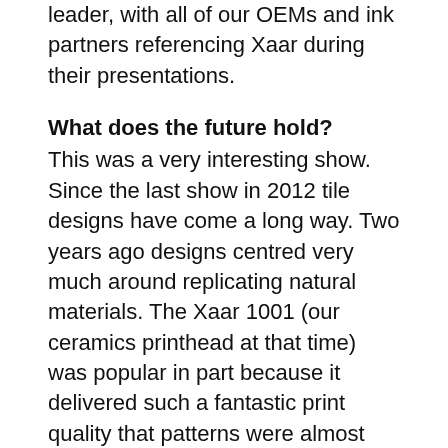leader, with all of our OEMs and ink partners referencing Xaar during their presentations.
What does the future hold?
This was a very interesting show. Since the last show in 2012 tile designs have come a long way. Two years ago designs centred very much around replicating natural materials. The Xaar 1001 (our ceramics printhead at that time) was popular in part because it delivered such a fantastic print quality that patterns were almost perfect replications of natural materials like